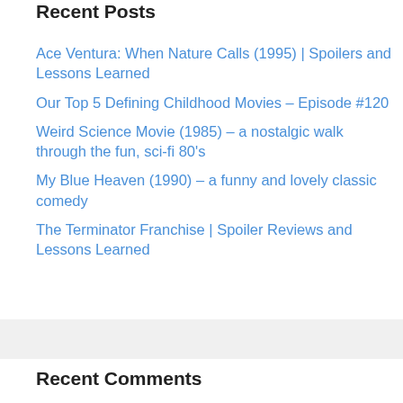Recent Posts
Ace Ventura: When Nature Calls (1995) | Spoilers and Lessons Learned
Our Top 5 Defining Childhood Movies – Episode #120
Weird Science Movie (1985) – a nostalgic walk through the fun, sci-fi 80's
My Blue Heaven (1990) – a funny and lovely classic comedy
The Terminator Franchise | Spoiler Reviews and Lessons Learned
Recent Comments